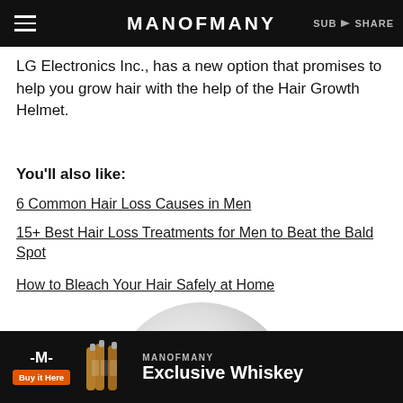MANOFMANY
LG Electronics Inc., has a new option that promises to help you grow hair with the help of the Hair Growth Helmet.
You'll also like:
6 Common Hair Loss Causes in Men
15+ Best Hair Loss Treatments for Men to Beat the Bald Spot
How to Bleach Your Hair Safely at Home
[Figure (photo): Top portion of a round white/grey helmet visible at bottom of page]
[Figure (infographic): ManOfMany advertisement banner for Exclusive Whiskey with Buy It Here button]